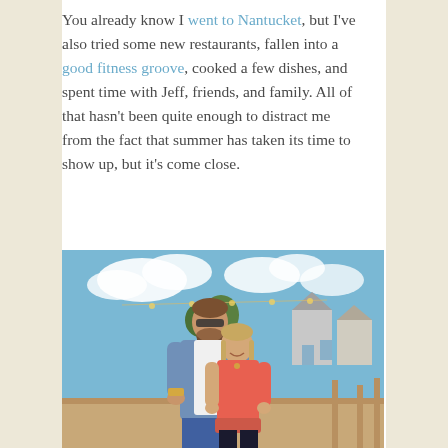You already know I went to Nantucket, but I've also tried some new restaurants, fallen into a good fitness groove, cooked a few dishes, and spent time with Jeff, friends, and family. All of that hasn't been quite enough to distract me from the fact that summer has taken its time to show up, but it's come close.
[Figure (photo): A couple standing on a rooftop deck or patio on a sunny day. A taller man wearing sunglasses and a blue chambray shirt over a white t-shirt stands behind a woman in a coral/orange sleeveless top. String lights are visible in the background along with rooftops, trees, and a partly cloudy blue sky.]